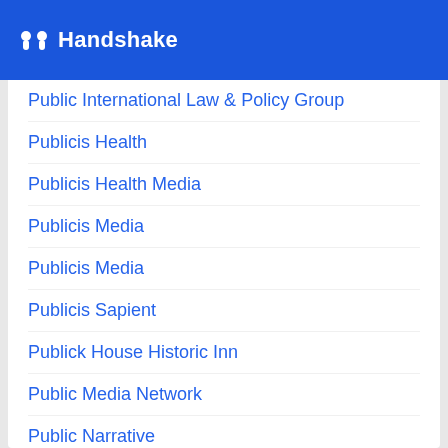Handshake
Public International Law & Policy Group
Publicis Health
Publicis Health Media
Publicis Media
Publicis Media
Publicis Sapient
Publick House Historic Inn
Public Media Network
Public Narrative
Public Opinion Strategies
Public Outreach